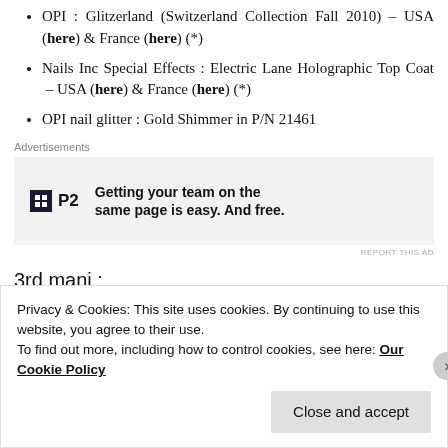OPI : Glitzerland (Switzerland Collection Fall 2010) – USA (here) & France (here) (*)
Nails Inc Special Effects : Electric Lane Holographic Top Coat – USA (here) & France (here) (*)
OPI nail glitter : Gold Shimmer in P/N 21461
[Figure (other): Advertisement banner for P2 software: 'Getting your team on the same page is easy. And free.']
3rd mani :
Privacy & Cookies: This site uses cookies. By continuing to use this website, you agree to their use. To find out more, including how to control cookies, see here: Our Cookie Policy